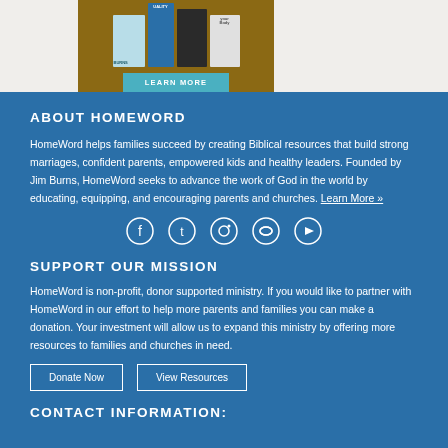[Figure (screenshot): Book covers with LEARN MORE button on tan/brown background]
ABOUT HOMEWORD
HomeWord helps families succeed by creating Biblical resources that build strong marriages, confident parents, empowered kids and healthy leaders. Founded by Jim Burns, HomeWord seeks to advance the work of God in the world by educating, equipping, and encouraging parents and churches. Learn More »
[Figure (infographic): Social media icons row: Facebook, Tumblr, Pinterest, Instagram, YouTube]
SUPPORT OUR MISSION
HomeWord is non-profit, donor supported ministry. If you would like to partner with HomeWord in our effort to help more parents and families you can make a donation. Your investment will allow us to expand this ministry by offering more resources to families and churches in need.
Donate Now   View Resources
CONTACT INFORMATION: